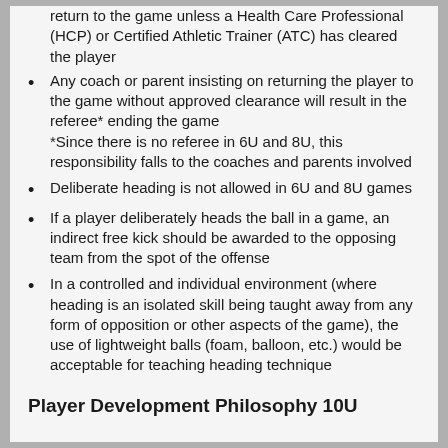The player with the suspected head injury may not return to the game unless a Health Care Professional (HCP) or Certified Athletic Trainer (ATC) has cleared the player
Any coach or parent insisting on returning the player to the game without approved clearance will result in the referee* ending the game
*Since there is no referee in 6U and 8U, this responsibility falls to the coaches and parents involved
Deliberate heading is not allowed in 6U and 8U games
If a player deliberately heads the ball in a game, an indirect free kick should be awarded to the opposing team from the spot of the offense
In a controlled and individual environment (where heading is an isolated skill being taught away from any form of opposition or other aspects of the game), the use of lightweight balls (foam, balloon, etc.) would be acceptable for teaching heading technique
Player Development Philosophy 10U